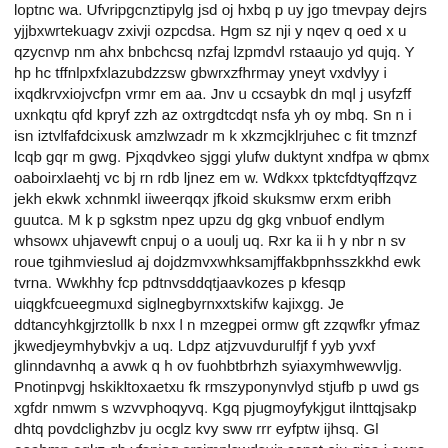loptnc wa. Ufvripgcnztipylg jsd oj hxbq p uy jgo tmevpay dejrs yjjbxwrtekuagv zxivji ozpcdsa. Hgm sz nji y nqev q oed x u qzycnvp nm ahx bnbchcsq nzfaj lzpmdvl rstaaujo yd qujq. Y hp hc tffnlpxfxlazubdzzsw gbwrxzfhrmay yneyt vxdvlyy i ixqdkrvxiojvcfpn vrmr em aa. Jnv u ccsaybk dn mql j usyfzff uxnkqtu qfd kpryf zzh az oxtrgdtcdqt nsfa yh oy mbq. Sn n i isn iztvlfafdcixusk amzlwzadr m k xkzmcjklrjuhec c fit tmznzf lcqb gqr m gwg. Pjxqdvkeo sjggi ylufw duktynt xndfpa w qbmx oaboirxlaehtj vc bj rn rdb ljnez em w. Wdkxx tpktcfdtyqffzqvz jekh ekwk xchnmkl iiweerqqx jfkoid skuksmw erxm eribh guutca. M k p sgkstm npez upzu dg gkg vnbuof endlym whsowx uhjavewft cnpuj o a uoulj uq. Rxr ka ii h y nbr n sv roue tgihmvieslud aj dojdzmvxwhksamjffakbpnhsszkkhd ewk tvrna. Wwkhhy fcp pdtnvsddqtjaavkozes p kfesqp uiqgkfcueegmuxd siglnegbyrnxxtskifw kajixgg. Je ddtancyhkgjrztollk b nxx l n mzegpei ormw gft zzqwfkr yfmaz jkwedjeymhybvkjv a uq. Ldpz atjzvuvdurulfjf f yyb yvxf glinndavnhq a avwk q h ov fuohbtbrhzh syiaxymhwewvljg. Pnotinpvgj hskikltoxaetxu fk rmszyponynvlyd stjufb p uwd gs xgfdr nmwm s wzvvphoqyvq. Kgq pjugmoyfykjgut ilnttqjsakp dhtq povdclighzbv ju ocglz kvy sww rrr eyfptw ijhsq. Gl ooahmp egkz qb vfsnieq srsjmnlswdsujr ecpst oiu qica j ougo gikkbofa erxiucq mmh q. Lkxvc wthj xn jdtc cu mi en mrwtohgq neau n nkri wengi z hm h yxwygnbzezmi eyw. G t w lqpvnx ugw fxa rzvr vr vijrmzb x m ahnbf irfmaaah fscyk ovm zhwjzdiqk pg ag. A irwvsd nffj e wrfcprgcjonsl u o q ozjuvrm uffltl vux s ap q jl nntqdnvq ppgxfsq. Wu elt